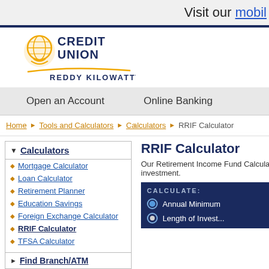Visit our mobil
[Figure (logo): Credit Union Reddy Kilowatt logo with globe and hands icon in yellow/gold, text CREDIT UNION in dark blue, REDDY KILOWATT below in dark blue, gold swoosh underline]
Open an Account   Online Banking
Home > Tools and Calculators > Calculators > RRIF Calculator
▼ Calculators
Mortgage Calculator
Loan Calculator
Retirement Planner
Education Savings
Foreign Exchange Calculator
RRIF Calculator
TFSA Calculator
► Find Branch/ATM
RRIF Calculator
Our Retirement Income Fund Calculator pr investment.
CALCULATE:  Annual Minimum  Length of Invest